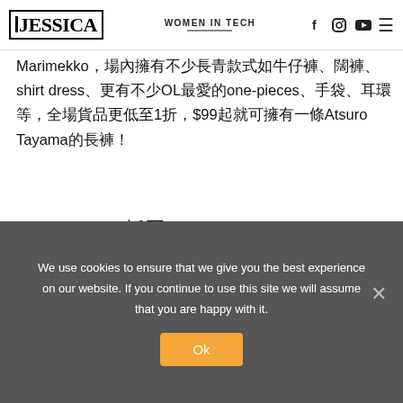JESSICA — WOMEN IN TECH
和各大潮牌，少數品牌包括OL最愛的Marekprint ANNA SUI，還有同款色彩模樣服飾 select shop Cocktail、經典日牌45R和芬蘭牌 Marimekko，場內擁有不少長青款式如牛仔褲、闊褲、shirt dress、更有不少OL最愛的one-pieces、手袋、耳環等，全場貨品更低至1折，$99起就可擁有一條Atsuro Tayama的長褲！
Under $300 抵買items：
We use cookies to ensure that we give you the best experience on our website. If you continue to use this site we will assume that you are happy with it.